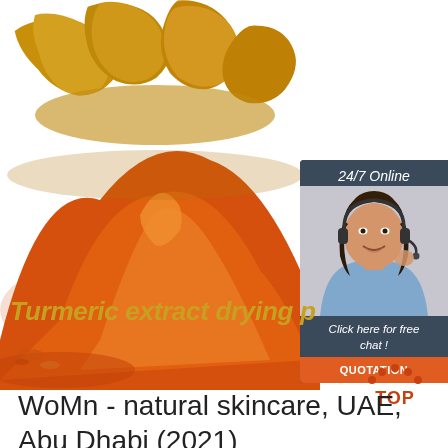[Figure (photo): Turmeric roots and orange turmeric powder on white background]
[Figure (infographic): 24/7 Online chat widget with woman wearing headset, 'Click here for free chat!' and orange QUOTATION button]
Turmeric extract drying p
[Figure (logo): TOP logo with orange arch dots above the word TOP in orange]
WoMn - natural skincare, UAE, Abu Dhabi (2021)